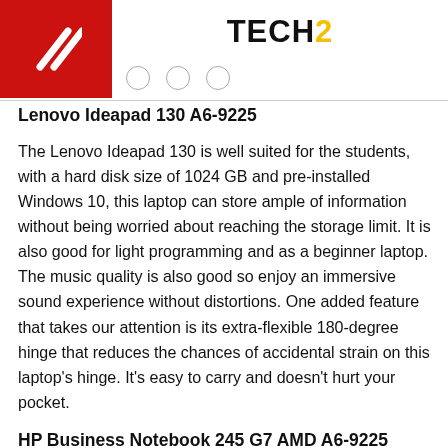TECH2
Lenovo Ideapad 130 A6-9225
The Lenovo Ideapad 130 is well suited for the students, with a hard disk size of 1024 GB and pre-installed Windows 10, this laptop can store ample of information without being worried about reaching the storage limit. It is also good for light programming and as a beginner laptop. The music quality is also good so enjoy an immersive sound experience without distortions. One added feature that takes our attention is its extra-flexible 180-degree hinge that reduces the chances of accidental strain on this laptop's hinge. It's easy to carry and doesn't hurt your pocket.
HP Business Notebook 245 G7 AMD A6-9225
The HP 245 G7 AMD is a budget-friendly laptop with a 14.1" display and offers plenty of memory. The memory is